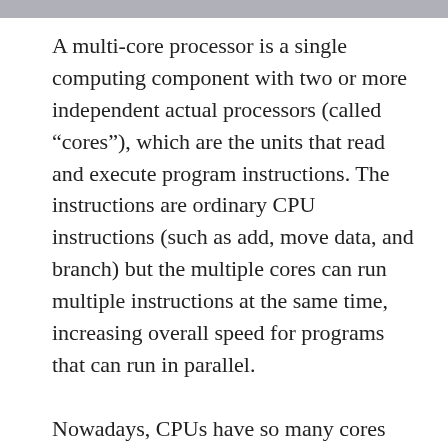A multi-core processor is a single computing component with two or more independent actual processors (called “cores”), which are the units that read and execute program instructions. The instructions are ordinary CPU instructions (such as add, move data, and branch) but the multiple cores can run multiple instructions at the same time, increasing overall speed for programs that can run in parallel.
Nowadays, CPUs have so many cores that you might wonder if there are any disadvantages to having more cores. After all, more cores means more processing power, right?
As it turns out, there can be some disadvantages